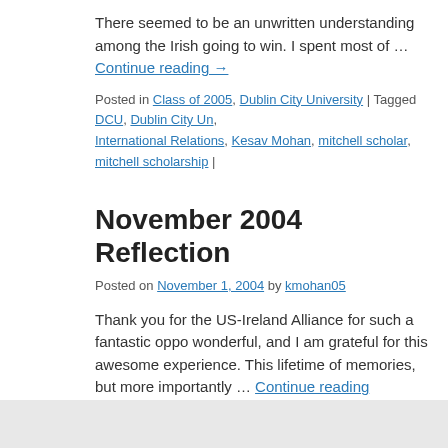There seemed to be an unwritten understanding among the Irish going to win. I spent most of … Continue reading →
Posted in Class of 2005, Dublin City University | Tagged DCU, Dublin City University, International Relations, Kesav Mohan, mitchell scholar, mitchell scholarship |
November 2004 Reflection
Posted on November 1, 2004 by kmohan05
Thank you for the US-Ireland Alliance for such a fantastic opportunity. This was wonderful, and I am grateful for this awesome experience. This gave me a lifetime of memories, but more importantly … Continue reading
Posted in Class of 2005, Dublin City University | Tagged DCU, Dublin City University, International Relations, Kesav Mohan, mitchell scholar, mitchell scholarship |
Mitchell Scholar Blogs